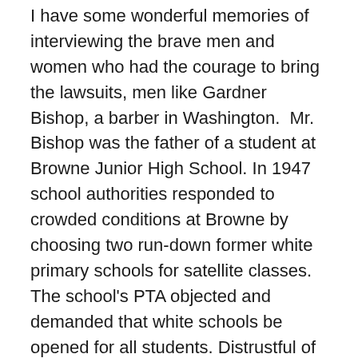I have some wonderful memories of interviewing the brave men and women who had the courage to bring the lawsuits, men like Gardner Bishop, a barber in Washington. Mr. Bishop was the father of a student at Browne Junior High School. In 1947 school authorities responded to crowded conditions at Browne by choosing two run-down former white primary schools for satellite classes. The school's PTA objected and demanded that white schools be opened for all students. Distrustful of the PTA's leadership, Bishop called on parents to boycott the school. He did this at great personal risk to himself. And note the date, 1947. It wasn't until 1954 that his case reached the high court.
I also spent time in Clarendon County, South Carolina, in the heart of the cotton belt, where white landowners and business leaders had ruled for generations. There poor